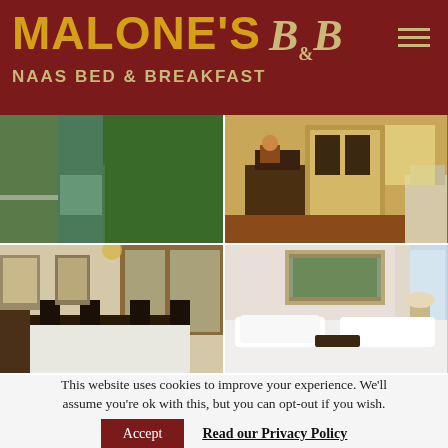MALONE'S B&B NAAS BED & BREAKFAST
[Figure (photo): Four-photo grid showing: top-left a canal path with green hedges and water reflection, top-right a warmly lit interior hallway with dark wood furniture and floral arrangements, bottom-left a formal dining room with dark chairs set for breakfast and framed portraits on walls, bottom-right a bright bedroom with white bedding, a framed landscape painting above the headboard, and curtained window]
This website uses cookies to improve your experience. We'll assume you're ok with this, but you can opt-out if you wish.
Accept   Read our Privacy Policy